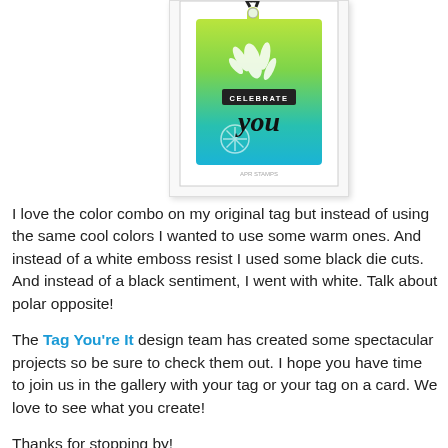[Figure (photo): A handmade gift tag with a yellow-green to teal gradient background, white leaf/floral emboss resist designs, a black 'CELEBRATE' sentiment banner, and 'you' written in black script. A black ribbon is tied at the top hole of the tag. The tag is displayed on a white card with a light gray border.]
I love the color combo on my original tag but instead of using the same cool colors I wanted to use some warm ones.  And instead of a white emboss resist I used some black die cuts.  And instead of a black sentiment, I went with white.  Talk about polar opposite!
The Tag You're It design team has created some spectacular projects so be sure to check them out.  I hope you have time to join us in the gallery with your tag or your tag on a card.  We love to see what you create!
Thanks for stopping by!